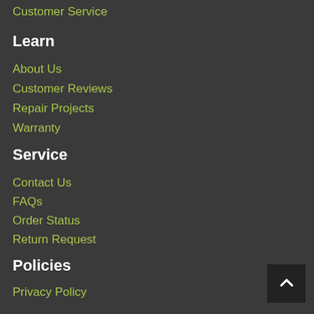Customer Service
Learn
About Us
Customer Reviews
Repair Projects
Warranty
Service
Contact Us
FAQs
Order Status
Return Request
Policies
Privacy Policy
Return Policy
Shipping Policy
Terms & Conditions
Twitter
16 Jun 2022
Summer Sale - RM European Auto Parts - https://t.co/p9XK0lcGww